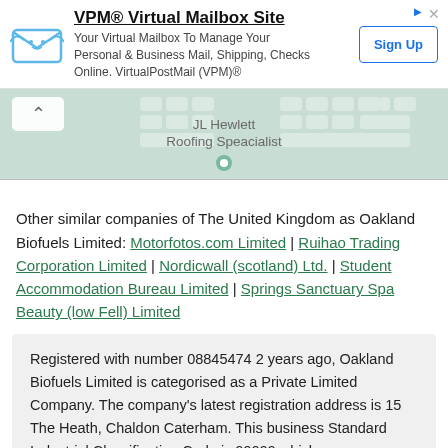[Figure (screenshot): Advertisement banner for VPM Virtual Mailbox Site with logo, title, body text, and Sign Up button]
[Figure (map): Map area showing JL Hewlett Roofing Speacialist location with keyboard-like decorative elements and a collapse chevron button]
Other similar companies of The United Kingdom as Oakland Biofuels Limited: Motorfotos.com Limited | Ruihao Trading Corporation Limited | Nordicwall (scotland) Ltd. | Student Accommodation Bureau Limited | Springs Sanctuary Spa Beauty (low Fell) Limited
Registered with number 08845474 2 years ago, Oakland Biofuels Limited is categorised as a Private Limited Company. The company's latest registration address is 15 The Heath, Chaldon Caterham. This business Standard Industrial Classification Code is 99999 which means